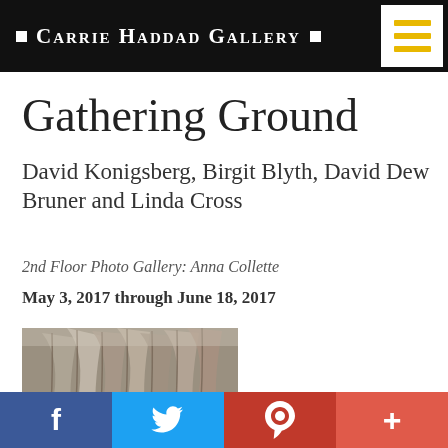Carrie Haddad Gallery
Gathering Ground
David Konigsberg, Birgit Blyth, David Dew Bruner and Linda Cross
2nd Floor Photo Gallery: Anna Collette
May 3, 2017 through June 18, 2017
[Figure (photo): Artwork photo showing metallic or organic textured layered forms, likely sculpture or natural material]
f  (Twitter bird)  p  +